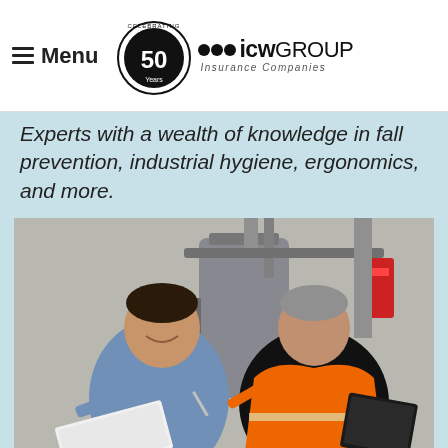Menu | ICW GROUP Insurance Companies
Experts with a wealth of knowledge in fall prevention, industrial hygiene, ergonomics, and more.
[Figure (photo): Two workers in an industrial setting reviewing documents. One man on the left wears a blue uniform shirt and is smiling while holding an open binder. A man on the right wears a black shirt and bright orange safety vest and is pointing at the documents with a pen while also holding a black binder. They are standing in front of industrial pipes and a large grey tank or water heater in a utility room.]